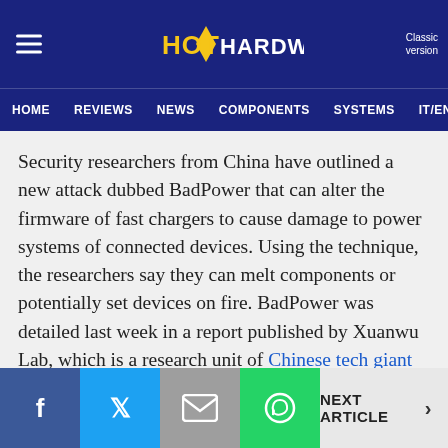HotHardware — HOME | REVIEWS | NEWS | COMPONENTS | SYSTEMS | IT/EN — Classic version
Security researchers from China have outlined a new attack dubbed BadPower that can alter the firmware of fast chargers to cause damage to power systems of connected devices. Using the technique, the researchers say they can melt components or potentially set devices on fire. BadPower was detailed last week in a report published by Xuanwu Lab, which is a research unit of Chinese tech giant Tencent.
NEXT ARTICLE